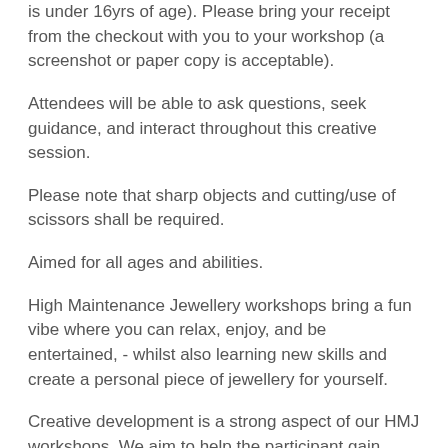is under 16yrs of age). Please bring your receipt from the checkout with you to your workshop (a screenshot or paper copy is acceptable).
Attendees will be able to ask questions, seek guidance, and interact throughout this creative session.
Please note that sharp objects and cutting/use of scissors shall be required.
Aimed for all ages and abilities.
High Maintenance Jewellery workshops bring a fun vibe where you can relax, enjoy, and be entertained, - whilst also learning new skills and create a personal piece of jewellery for yourself.
Creative development is a strong aspect of our HMJ workshops. We aim to help the participant gain confidence, learn new skills which involve problem solving, fine motor skills, patience, creative thinking